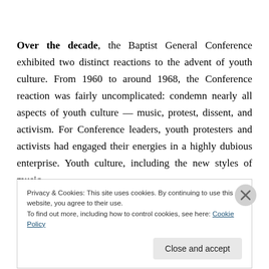Over the decade, the Baptist General Conference exhibited two distinct reactions to the advent of youth culture. From 1960 to around 1968, the Conference reaction was fairly uncomplicated: condemn nearly all aspects of youth culture — music, protest, dissent, and activism. For Conference leaders, youth protesters and activists had engaged their energies in a highly dubious enterprise. Youth culture, including the new styles of music
Privacy & Cookies: This site uses cookies. By continuing to use this website, you agree to their use.
To find out more, including how to control cookies, see here: Cookie Policy